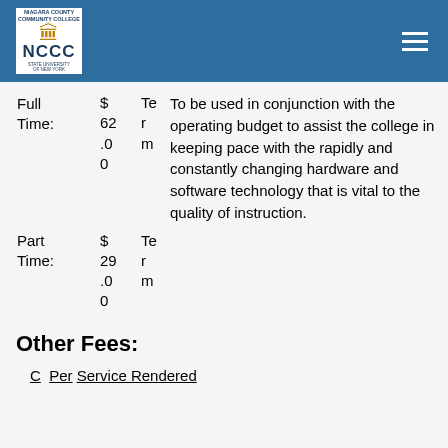[Figure (logo): NCCC (Niagara County Community College) logo - white box with building graphic, NCCC text, and State University of New York text]
|  | Amount | Term | Description |
| --- | --- | --- | --- |
| Full Time: | $ 62.00 | Te r m | To be used in conjunction with the operating budget to assist the college in keeping pace with the rapidly and constantly changing hardware and software technology that is vital to the quality of instruction. |
| Part Time: | $ 29.00 | Te r m |  |
Other Fees:
C  Per Service Rendered